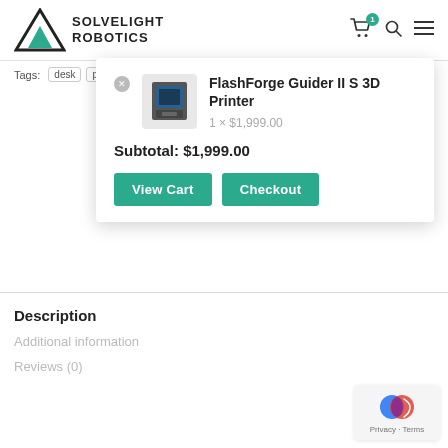Solvelight Robotics
Tags: desk professional
[Figure (screenshot): Cart dropdown showing FlashForge Guider II S 3D Printer, 1 x $1,999.00, Subtotal: $1,999.00, with View Cart and Checkout buttons]
Description
Additional information
Reviews (0)